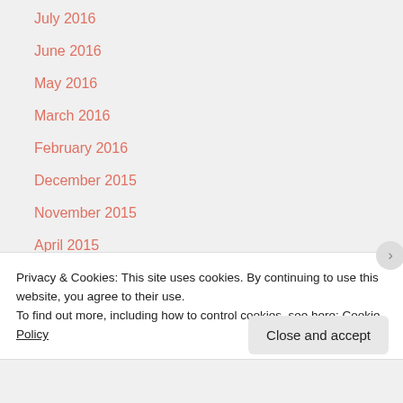July 2016
June 2016
May 2016
March 2016
February 2016
December 2015
November 2015
April 2015
March 2015
February 2015
Privacy & Cookies: This site uses cookies. By continuing to use this website, you agree to their use.
To find out more, including how to control cookies, see here: Cookie Policy
Close and accept